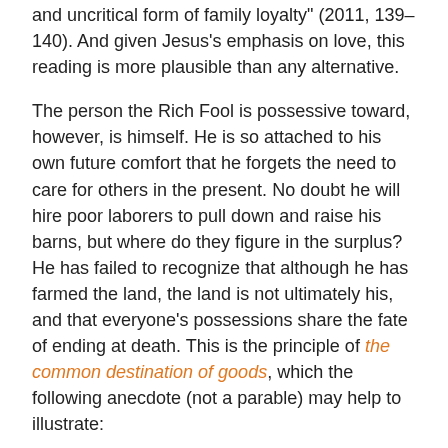and uncritical form of family loyalty" (2011, 139–140). And given Jesus's emphasis on love, this reading is more plausible than any alternative.
The person the Rich Fool is possessive toward, however, is himself. He is so attached to his own future comfort that he forgets the need to care for others in the present. No doubt he will hire poor laborers to pull down and raise his barns, but where do they figure in the surplus? He has failed to recognize that although he has farmed the land, the land is not ultimately his, and that everyone's possessions share the fate of ending at death. This is the principle of the common destination of goods, which the following anecdote (not a parable) may help to illustrate:
In the 19th Century, a tourist from the USA visited Poland to meet the famous Rabbi